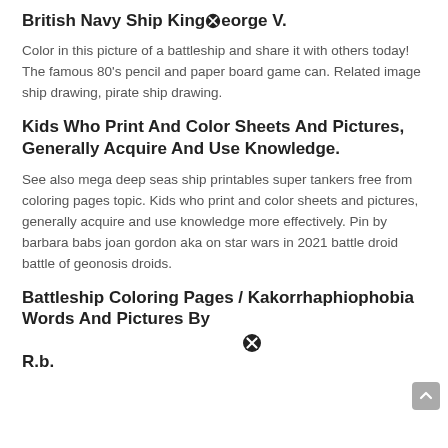British Navy Ship KingGeorge V.
Color in this picture of a battleship and share it with others today! The famous 80's pencil and paper board game can. Related image ship drawing, pirate ship drawing.
Kids Who Print And Color Sheets And Pictures, Generally Acquire And Use Knowledge.
See also mega deep seas ship printables super tankers free from coloring pages topic. Kids who print and color sheets and pictures, generally acquire and use knowledge more effectively. Pin by barbara babs joan gordon aka on star wars in 2021 battle droid battle of geonosis droids.
Battleship Coloring Pages / Kakorrhaphiophobia Words And Pictures By R.b.